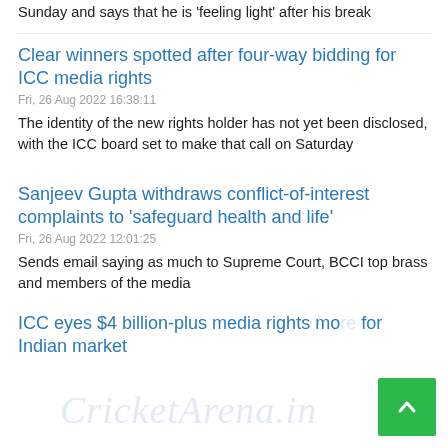Sunday and says that he is 'feeling light' after his break
Clear winners spotted after four-way bidding for ICC media rights
Fri, 26 Aug 2022 16:38:11
The identity of the new rights holder has not yet been disclosed, with the ICC board set to make that call on Saturday
Sanjeev Gupta withdraws conflict-of-interest complaints to 'safeguard health and life'
Fri, 26 Aug 2022 12:01:25
Sends email saying as much to Supreme Court, BCCI top brass and members of the media
ICC eyes $4 billion-plus media rights more for Indian market